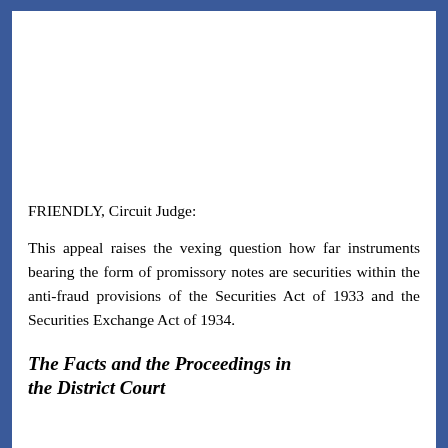FRIENDLY, Circuit Judge:
This appeal raises the vexing question how far instruments bearing the form of promissory notes are securities within the anti-fraud provisions of the Securities Act of 1933 and the Securities Exchange Act of 1934.
The Facts and the Proceedings in the District Court